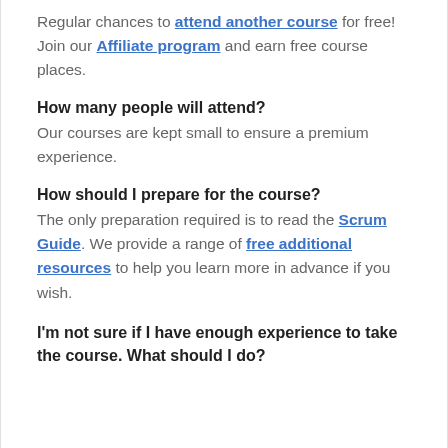Regular chances to attend another course for free! Join our Affiliate program and earn free course places.
How many people will attend?
Our courses are kept small to ensure a premium experience.
How should I prepare for the course?
The only preparation required is to read the Scrum Guide. We provide a range of free additional resources to help you learn more in advance if you wish.
I'm not sure if I have enough experience to take the course. What should I do?